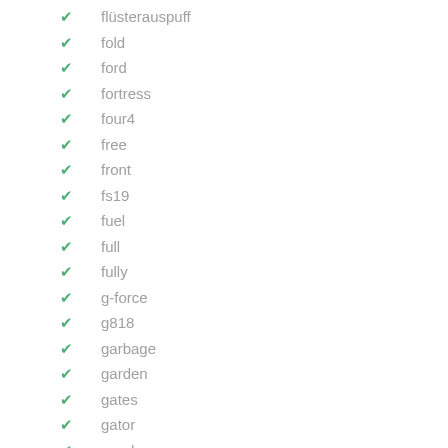flüsterauspuff
fold
ford
fortress
four4
free
front
fs19
fuel
full
fully
g-force
g818
garbage
garden
gates
gator
gearbox